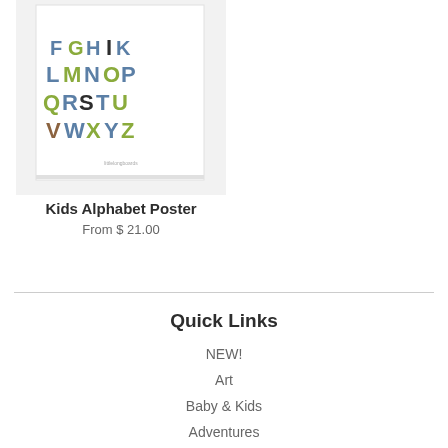[Figure (photo): Kids Alphabet Poster product image showing colorful alphabet letters FGHIK LMNOP QRSTU VWXYZ on a white framed print with blue, green, and brown colors]
Kids Alphabet Poster
From $ 21.00
Quick Links
NEW!
Art
Baby & Kids
Adventures